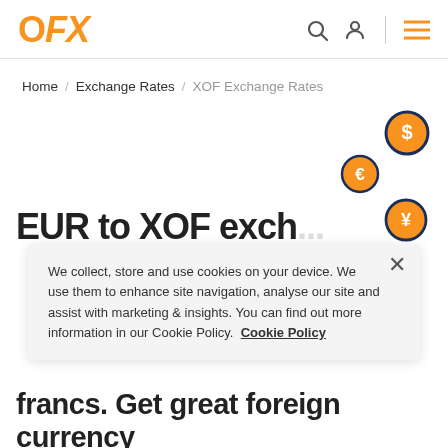OFX
Home / Exchange Rates / XOF Exchange Rates
[Figure (illustration): Three currency coin icons (dollar, euro, yen) floating on the right side, with a partial heading 'EUR to XOF exch...' visible at the bottom]
We collect, store and use cookies on your device. We use them to enhance site navigation, analyse our site and assist with marketing & insights. You can find out more information in our Cookie Policy. Cookie Policy
francs. Get great foreign currency